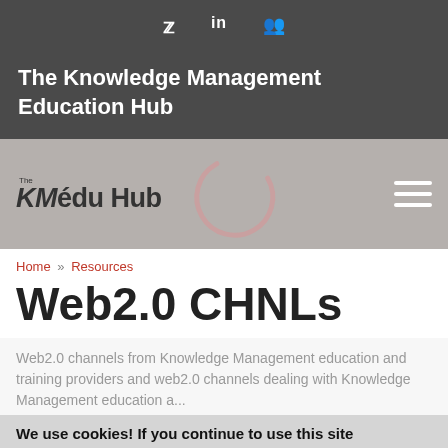Twitter | LinkedIn | Groups social icons
The Knowledge Management Education Hub
[Figure (logo): KMedu Hub logo with navigation bar and loading spinner]
Home » Resources
Web2.0 CHNLs
Web2.0 channels from Knowledge Management education and training providers and web2.0 channels dealing with Knowledge Management education a...
We use cookies! If you continue to use this site you agree with this practice. Read more about cookies and OK